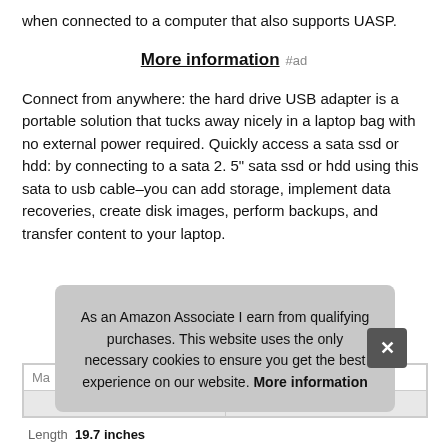when connected to a computer that also supports UASP.
More information #ad
Connect from anywhere: the hard drive USB adapter is a portable solution that tucks away nicely in a laptop bag with no external power required. Quickly access a sata ssd or hdd: by connecting to a sata 2. 5" sata ssd or hdd using this sata to usb cable–you can add storage, implement data recoveries, create disk images, perform backups, and transfer content to your laptop.
| Ma |  |
| Length | 19.7 inches |
As an Amazon Associate I earn from qualifying purchases. This website uses the only necessary cookies to ensure you get the best experience on our website. More information